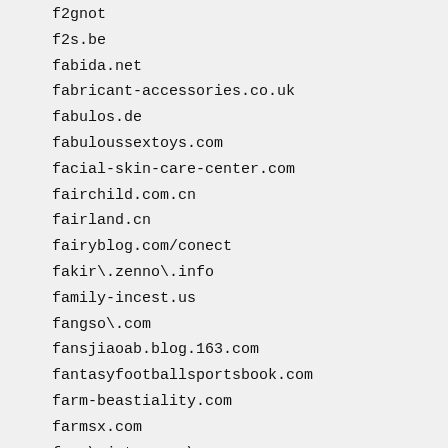f2gnot
f2s.be
fabida.net
fabricant-accessories.co.uk
fabulos.de
fabuloussextoys.com
facial-skin-care-center.com
fairchild.com.cn
fairland.cn
fairyblog.com/conect
fakir\.zenno\.info
family-incest.us
fangso\.com
fansjiaoab.blog.163.com
fantasyfootballsportsbook.com
farm-beastiality.com
farmsx.com
fasa\.jetco-ops\.com
fashuo300.com
fast-look\.com